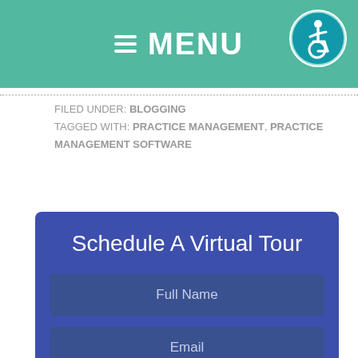≡ MENU
FILED UNDER: BLOGGING
TAGGED WITH: PRACTICE MANAGEMENT, PRACTICE MANAGEMENT SOFTWARE
Schedule A Virtual Tour
Full Name
Email
Title